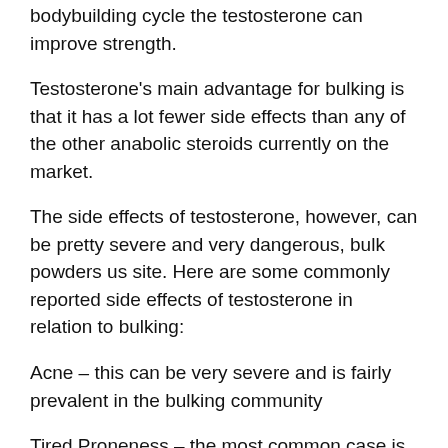bodybuilding cycle the testosterone can improve strength.
Testosterone's main advantage for bulking is that it has a lot fewer side effects than any of the other anabolic steroids currently on the market.
The side effects of testosterone, however, can be pretty severe and very dangerous, bulk powders us site. Here are some commonly reported side effects of testosterone in relation to bulking:
Acne – this can be very severe and is fairly prevalent in the bulking community
Tired Proneness – the most common case is that of acne that is so severe it interferes with muscle growth
Fat – this is most often the case after an